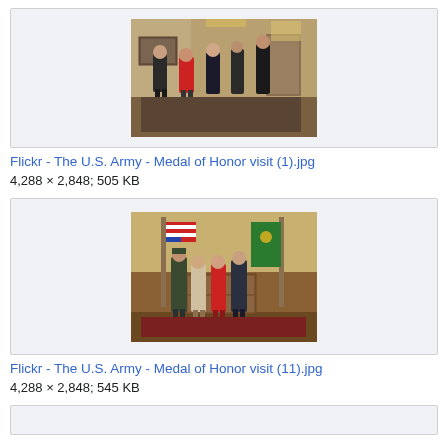[Figure (photo): Photo of people in a room, military/formal setting, person in red shirt talking with others in a decorated room]
Flickr - The U.S. Army - Medal of Honor visit (1).jpg
4,288 × 2,848; 505 KB
[Figure (photo): Photo of four people posing for a photo in a formal room with US and state flags in background]
Flickr - The U.S. Army - Medal of Honor visit (11).jpg
4,288 × 2,848; 545 KB